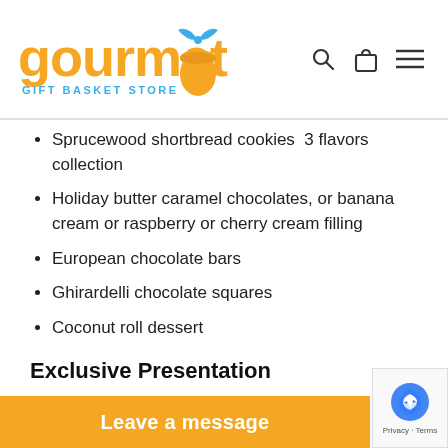gourmet GIFT BASKET STORE
Sprucewood shortbread cookies  3 flavors collection
Holiday butter caramel chocolates, or banana cream or raspberry or cherry cream filling
European chocolate bars
Ghirardelli chocolate squares
Coconut roll dessert
Exclusive Presentation
To emphasize, we add extra attention to the presentation. In detail, we complete our gift baskets for the medley of greenery, and